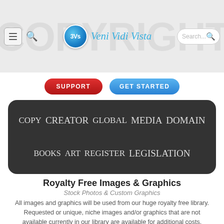[Figure (screenshot): Website header with hamburger menu, search icon, 3Vs Veni Vidi Vista logo, and search box on a light gray background with COPYRIGHT watermark]
[Figure (other): Two buttons: red SUPPORT button and blue GET STARTED button]
[Figure (other): Dark rounded tag cloud with copyright-related words: COPY, CREATOR, GLOBAL, MEDIA, DOMAIN, BOOKS, ART, REGISTER, LEGISLATION]
Royalty Free Images & Graphics
Stock Photos & Custom Graphics
All images and graphics will be used from our huge royalty free library. Requested or unique, niche images and/or graphics that are not available currently in our library are available for additional costs.